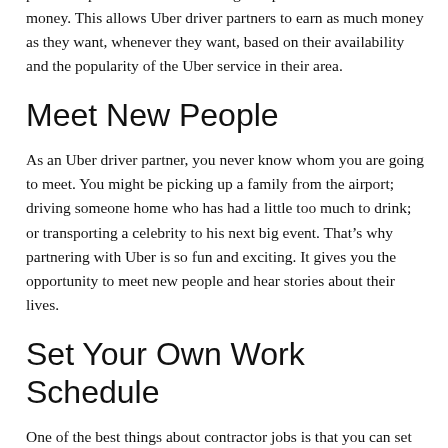provide a platform for ride sharing that partners can use to make money. This allows Uber driver partners to earn as much money as they want, whenever they want, based on their availability and the popularity of the Uber service in their area.
Meet New People
As an Uber driver partner, you never know whom you are going to meet. You might be picking up a family from the airport; driving someone home who has had a little too much to drink; or transporting a celebrity to his next big event. That’s why partnering with Uber is so fun and exciting. It gives you the opportunity to meet new people and hear stories about their lives.
Set Your Own Work Schedule
One of the best things about contractor jobs is that you can set your own hours. If you don’t want to work the standard 8-to-5 schedule,